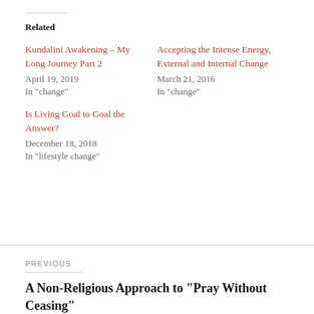Related
Kundalini Awakening – My Long Journey Part 2
April 19, 2019
In "change"
Accepting the Intense Energy, External and Internal Change
March 21, 2016
In "change"
Is Living Goal to Goal the Answer?
December 18, 2018
In "lifestyle change"
PREVIOUS
A Non-Religious Approach to “Pray Without Ceasing”